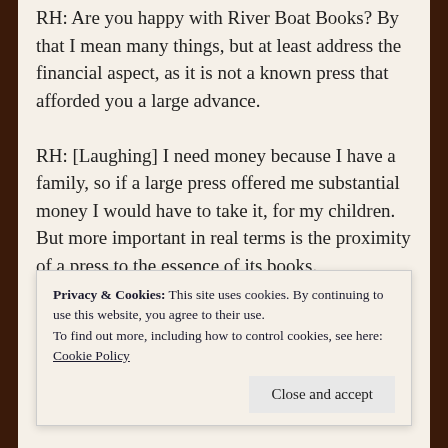RH: Are you happy with River Boat Books? By that I mean many things, but at least address the financial aspect, as it is not a known press that afforded you a large advance.
RH: [Laughing] I need money because I have a family, so if a large press offered me substantial money I would have to take it, for my children. But more important in real terms is the proximity of a press to the essence of its books. Maintenance Ends perfectly matches its first book. Perfectly… right, stupid word because what I need to say is that in the end River Boat Books may be an even, no. I won't say better fit, but they are more or less
Privacy & Cookies: This site uses cookies. By continuing to use this website, you agree to their use.
To find out more, including how to control cookies, see here: Cookie Policy